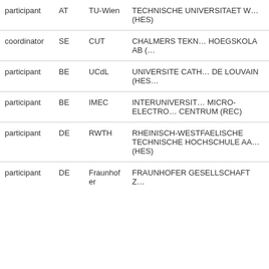| participant | AT | TU-Wien | TECHNISCHE UNIVERSITAET W… (HES) |
| coordinator | SE | CUT | CHALMERS TEKN… HOEGSKOLA AB (… |
| participant | BE | UCdL | UNIVERSITE CATH… DE LOUVAIN (HES… |
| participant | BE | IMEC | INTERUNIVERSIT… MICRO-ELECTRO… CENTRUM (REC) |
| participant | DE | RWTH | RHEINISCH-WESTFAELISCHE TECHNISCHE HOCHSCHULE AA… (HES) |
| participant | DE | Fraunhofer | FRAUNHOFER GESELLSCHAFT Z… |